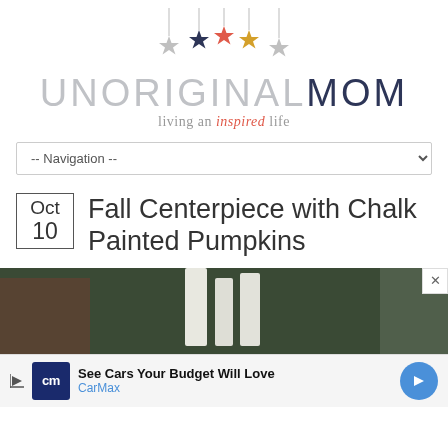[Figure (logo): UnoriginalMom blog logo with hanging stars (gray, dark blue, red, gold, gray) above the site name UNORIGINALMOM in large gray/navy letters, tagline: living an inspired life]
UNORIGINALMOM - living an inspired life
[Figure (other): Navigation dropdown selector showing -- Navigation --]
Oct 10 - Fall Centerpiece with Chalk Painted Pumpkins
[Figure (photo): Partial view of fall centerpiece with chalk painted pumpkins, dark olive green background with white candles visible]
See Cars Your Budget Will Love - CarMax (advertisement)